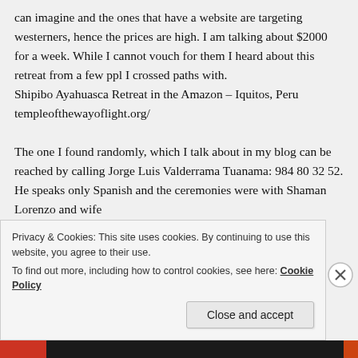can imagine and the ones that have a website are targeting westerners, hence the prices are high. I am talking about $2000 for a week. While I cannot vouch for them I heard about this retreat from a few ppl I crossed paths with.
Shipibo Ayahuasca Retreat in the Amazon – Iquitos, Peru
templeofthewayoflight.org/

The one I found randomly, which I talk about in my blog can be reached by calling Jorge Luis Valderrama Tuanama: 984 80 32 52. He speaks only Spanish and the ceremonies were with Shaman Lorenzo and wife
Privacy & Cookies: This site uses cookies. By continuing to use this website, you agree to their use.
To find out more, including how to control cookies, see here: Cookie Policy
Close and accept